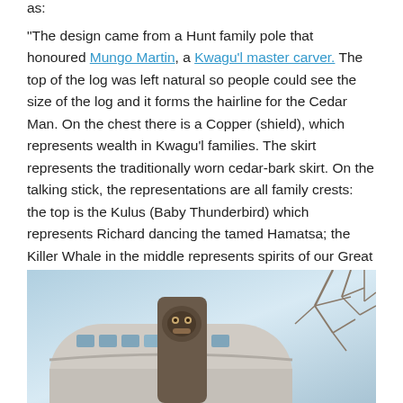as:
“The design came from a Hunt family pole that honoured Mungo Martin, a Kwagu’l master carver. The top of the log was left natural so people could see the size of the log and it forms the hairline for the Cedar Man. On the chest there is a Copper (shield), which represents wealth in Kwagu’l families. The skirt represents the traditionally worn cedar-bark skirt. On the talking stick, the representations are all family crests: the top is the Kulus (Baby Thunderbird) which represents Richard dancing the tamed Hamatsa; the Killer Whale in the middle represents spirits of our Great Chiefs; and the man on the bottom represents a Kwagu’l family member.”
[Figure (photo): Photograph of a circular modern building with curved concrete facade and windows, with a tall totem pole carved from a cedar log in the foreground, and bare tree branches visible against a light blue sky on the right side.]